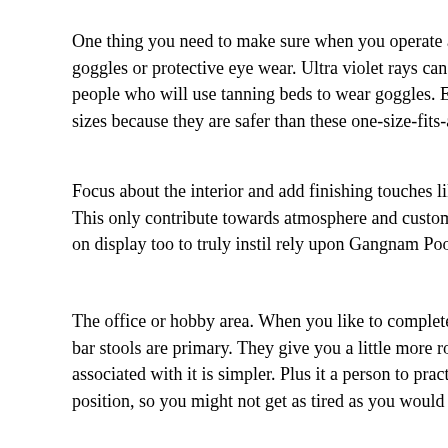One thing you need to make sure when you operate a tanning room sa goggles or protective eye wear. Ultra violet rays can damage eyes an i people who will use tanning beds to wear goggles. Ensure that you ha sizes because they are safer than these one-size-fits-all types that are e
Focus about the interior and add finishing touches like freshly cut flov This only contribute towards atmosphere and customor sensation. Put on display too to truly instil rely upon Gangnam Pool Salon your lead
The office or hobby area. When you like to complete hobbies, especia bar stools are primary. They give you a little more room to stretch you associated with it is simpler. Plus it a person to practice your hobby in position, so you might not get as tired as you would being bent in a co
There is a debate in how often you should wash your locks. One scho wash the oil and dirt from your hair daily, the other line of thinking ac damages the head of hair room bar . I think that response depends acr oily hair then you may need to wash it every holiday. If your hair is dr every 72 hrs or thus ,. Your lifestyle also makes a difference. I wash n